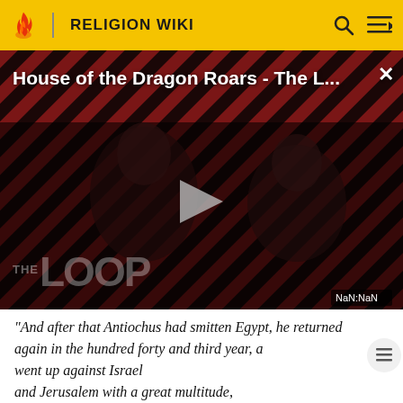RELIGION WIKI
[Figure (screenshot): Video thumbnail for 'House of the Dragon Roars - The L...' showing two people in a dark studio with diagonal red/black stripe background, a play button in the center, 'THE LOOP' text overlay, and NaN:NaN timestamp.]
"And after that Antiochus had smitten Egypt, he returned again in the hundred forty and third year, and went up against Israel and Jerusalem with a great multitude, And entered proudly into the sanctuary, and took away